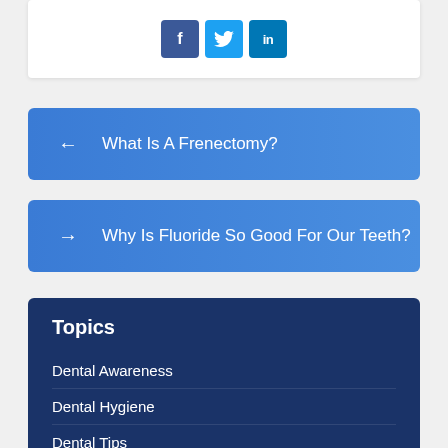[Figure (other): Social media share icons: Facebook (f), Twitter (bird), LinkedIn (in)]
← What Is A Frenectomy?
→ Why Is Fluoride So Good For Our Teeth?
Topics
Dental Awareness
Dental Hygiene
Dental Tips